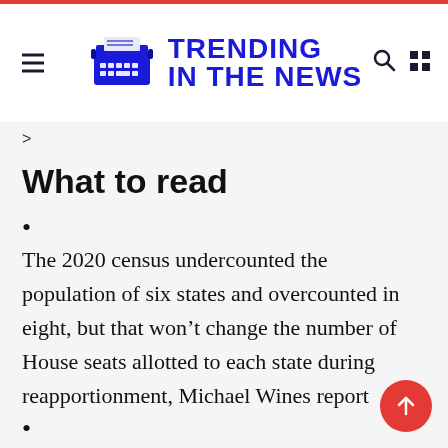TRENDING IN THE NEWS
>
What to read
•
The 2020 census undercounted the population of six states and overcounted in eight, but that won't change the number of House seats allotted to each state during reapportionment, Michael Wines report
•